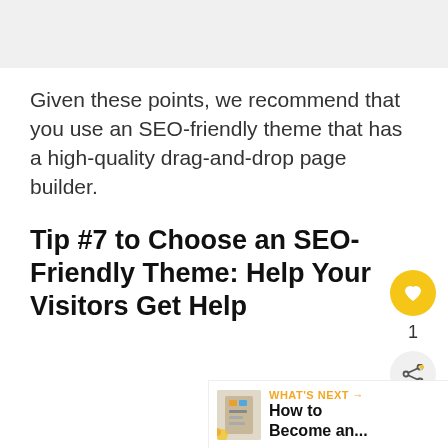Given these points, we recommend that you use an SEO-friendly theme that has a high-quality drag-and-drop page builder.
Tip #7 to Choose an SEO-Friendly Theme: Help Your Visitors Get Help
[Figure (other): What's Next banner with thumbnail image and text 'How to Become an...']